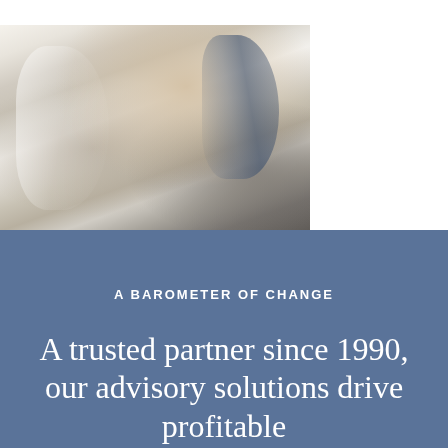[Figure (photo): Close-up photo of dry-cleaned or laundered garments wrapped in plastic on hangers, showing white and cream-colored clothing with a blue accent, soft fabric textures visible]
A BAROMETER OF CHANGE
A trusted partner since 1990, our advisory solutions drive profitable